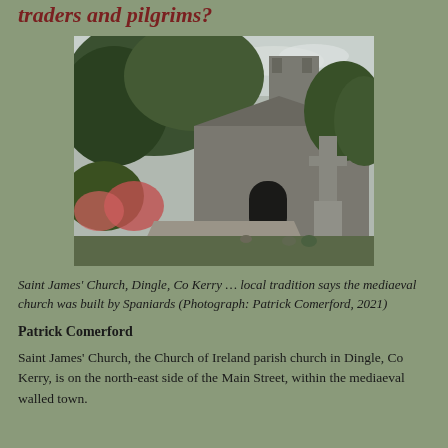traders and pilgrims?
[Figure (photo): Saint James' Church, Dingle, Co Kerry — a stone church building surrounded by trees, with a gravel path and a gravestone cross visible to the right.]
Saint James' Church, Dingle, Co Kerry … local tradition says the mediaeval church was built by Spaniards (Photograph: Patrick Comerford, 2021)
Patrick Comerford
Saint James' Church, the Church of Ireland parish church in Dingle, Co Kerry, is on the north-east side of the Main Street, within the mediaeval walled town.